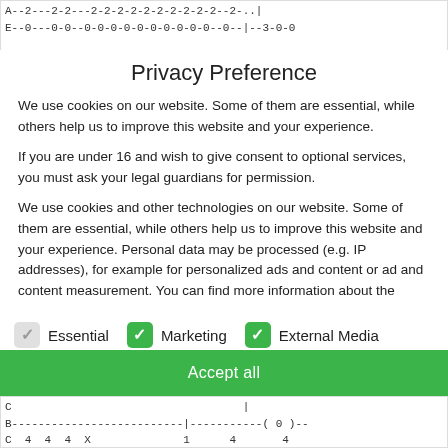[Figure (screenshot): Top portion of a code/data display showing rows with letters A and E followed by dashes, zeros, and numbers in monospace font]
Privacy Preference
We use cookies on our website. Some of them are essential, while others help us to improve this website and your experience.
If you are under 16 and wish to give consent to optional services, you must ask your legal guardians for permission.
We use cookies and other technologies on our website. Some of them are essential, while others help us to improve this website and your experience. Personal data may be processed (e.g. IP addresses), for example for personalized ads and content or ad and content measurement. You can find more information about the
Essential   Marketing   External Media
Accept all
[Figure (screenshot): Bottom portion of a code/data display showing rows with letters C, B, C followed by dashes, zeros, and numbers in monospace font]